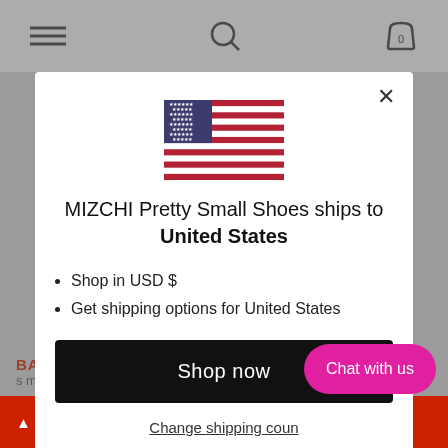[Figure (screenshot): Website modal dialog on MIZCHI Pretty Small Shoes e-commerce site showing shipping country selection for United States with US flag, bullet points, Shop now button, and Change shipping country link. A pink Chat with us button and red Mizchi Loyalty Points bar are also visible.]
MIZCHI Pretty Small Shoes ships to United States
Shop in USD $
Get shipping options for United States
Shop now
Change shipping coun...
Chat with us
Mizchi Loyalty Points  s made today*